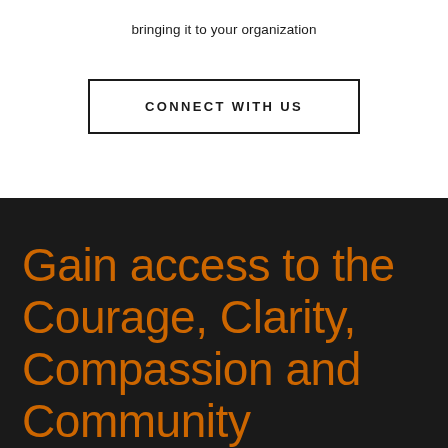bringing it to your organization
CONNECT WITH US
Gain access to the Courage, Clarity, Compassion and Community